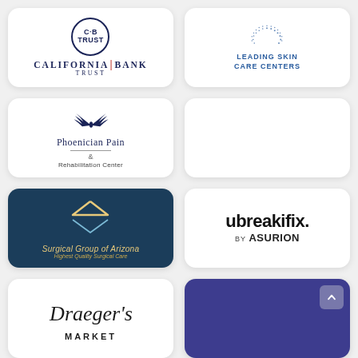[Figure (logo): California Bank & Trust logo with circular emblem and serif text]
[Figure (logo): Leading Skin Care Centers logo with dotted arc and blue text]
[Figure (logo): Phoenician Pain & Rehabilitation Center logo with wings symbol]
[Figure (logo): Empty white card (placeholder)]
[Figure (logo): Surgical Group of Arizona logo on dark blue background with geometric house icon and gold text]
[Figure (logo): ubreakifix by asurion logo in black text on white background]
[Figure (logo): Draeger's Market logo with script and bold text]
[Figure (logo): Purple card with scroll-to-top button]